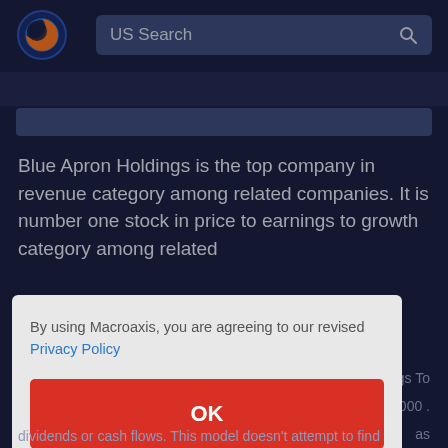US Search
Blue Apron Holdings is the top company in revenue category among related companies. It is number one stock in price to earnings to growth category among related
By using Macroaxis, you are agreeing to our revised Privacy Policy
OK
dividends or cash flows. This model doesn't attempt to find